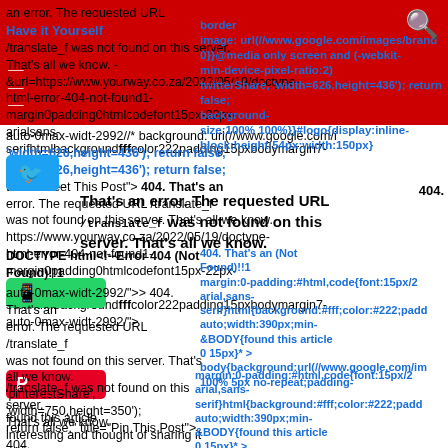[Figure (screenshot): Screenshot of a webpage showing a 404 error with overlapping social share buttons (Twitter, WhatsApp, Pinterest), navigation bar with red background, search icon, and mixed black and blue CSS/HTML code text overlaid on the page content.]
an error. The requested URL /translate_f was not found on this server. That's all we know. - &url=https://www.yourway.co.za/2022/05/19/doctype-html-error-404-not-found1-margin0padding0htmlcodefont15px-22px-arialsans-serifhtmlbackgroundfffcolor222padding15pxbodymargin7-auto-0max-widt-2992//* background: url(//www.google.com/images/brand 0}}@media only screen and (-webkit-min-device-pixel-ratio:2),.background: url(//www.google.com/images/branding/google logo/1x/...)-background-size:100% 100%}}#logo{display:inline-block;height:54px;width:150px} 404. That's an error. The requested URL /translate_f was not found on this server. That's all we know.
Have it Yourself
border
image: url(//www.google.com/images/brand 0}}@media only screen and (-webkit-min-device-pixel-ratio:2) twitterShare, 'width=626,height=436'); return false; title="Tweet This Post"> 404. That's an error. The requested URL /translate_f was not found on this server. That's all we know. https://www.yourway.co.za/2022/05/19/doctype-html-error-404-not-found1-margin0padding0htmlcodefont15px-22px-arialsans-serifhtmlbackgroundfffcolor222padding15pxbodymargin7-auto-0max-widt-2992/*
404. That's an error. The requested URL /translate_f was not found on this server. That's all we know.
DOCTYPE html<!--Error 404 (Not Found)!!1 margin:0;padding:0;html,code{font:15px/2 arial,sans-serif}html{background:#fff;color:#222;padding:15px}body{background:url(//www.google.com/images/...100% 5px no-repeat;padding-...auto;width:390px;min-height:180px}&BODY{found this article interesting and thought of sharing it with you. Check it out:
margin:0-padding:#html,code{font:15px/2 arial,sans-serif}html{background:#fff;color:#222;padd... auto;width:390px;min- &BODY{found this article 0 15px}* > body{background:url(//www.google.com/im... 100% 5px no-repeat;padding-